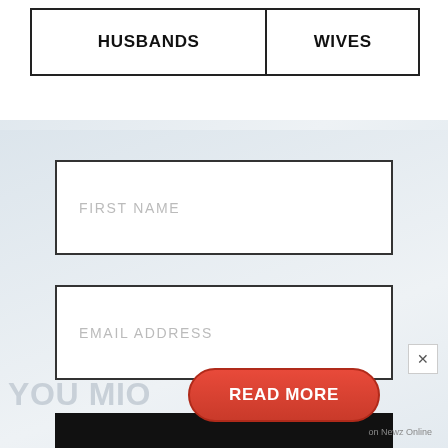| HUSBANDS | WIVES |
| --- | --- |
FIRST NAME
EMAIL ADDRESS
SIGN ME UP!
YOU MIO
READ MORE
on Newz Online